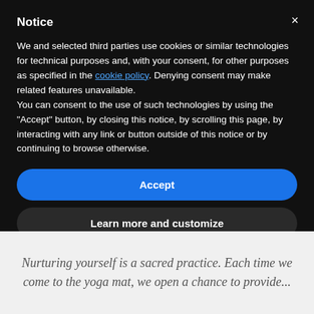Notice
We and selected third parties use cookies or similar technologies for technical purposes and, with your consent, for other purposes as specified in the cookie policy. Denying consent may make related features unavailable.
You can consent to the use of such technologies by using the "Accept" button, by closing this notice, by scrolling this page, by interacting with any link or button outside of this notice or by continuing to browse otherwise.
Accept
Learn more and customize
Nurturing yourself is a sacred practice. Each time we come to the yoga mat, we open a chance to provide...